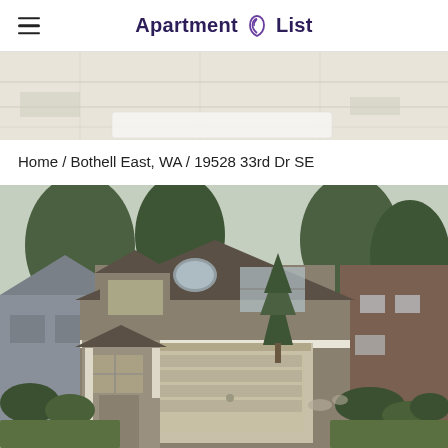Apartment List
[Figure (map): Partial map view with a search box overlay]
Home / Bothell East, WA / 19528 33rd Dr SE
[Figure (photo): Exterior photo of a two-story craftsman-style house with gray siding, white trim, oval window, two-car garage, and driveway]